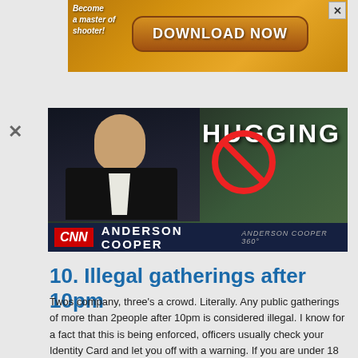[Figure (screenshot): Advertisement banner for a shooter game with text 'Become a master of shooter!' and a 'DOWNLOAD NOW' button on a golden/orange background with X close button]
[Figure (screenshot): CNN Anderson Cooper news segment screenshot showing anchor in suit with 'HUGGING' text and a no-hugging prohibition sign. CNN lower-third bar reads 'CNN ANDERSON COOPER' with Anderson Cooper 360 branding.]
10. Illegal gatherings after 10pm
Twos company, three's a crowd. Literally.  Any public gatherings of more than 2people after 10pm is considered illegal. I know for a fact that this is being enforced, officers usually check your Identity Card and let you off with a warning. If you are under 18 you will get to fulfill that boyish childhood dream of riding in a police car when they send you home.